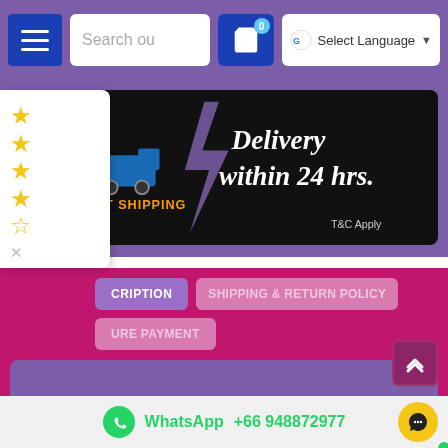[Figure (screenshot): Navigation bar with menu button, search bar, cart icon with badge 0, and Google Translate language selector]
[Figure (illustration): Fast Shipping banner: dark background, delivery truck with speed lines, lightning bolt, text 'Delivery within 24 hrs.' in italic white, 'T&C Apply' at bottom right, 'AST SHIPPING' in orange text]
[Figure (other): Star rating popup showing 4.5 stars (5 gold stars with last one half), close button X at bottom]
CRIPTION
SHIPPING & RETURN POLICY
URE PAYMENT
Reviews (1)
WhatsApp +66 948872977